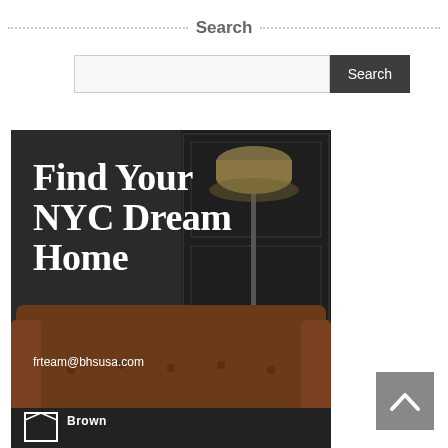Search
[Figure (screenshot): Search input box with a dark 'Search' button on the right]
[Figure (photo): Real estate advertisement showing a dark luxury interior with a leather sofa and floor lamp. Text reads 'Find Your NYC Dream Home', 'frteam@bhsusa.com', and 'Brown' with a logo at the bottom.]
[Figure (other): Back to top button: grey square with upward-pointing chevron arrow]